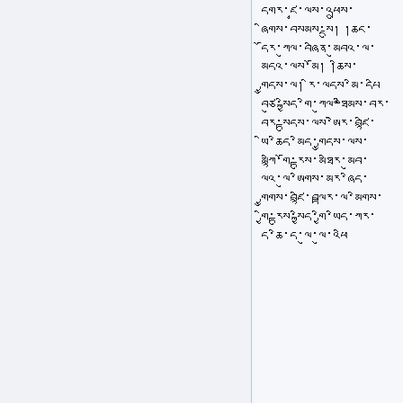དགར་ཛྭ་ལས་འཕྲུས་ཞིགས་བསམས་སྡུ། །ཆང་དོར་ཀུལ་བཞིན་མུབའ་ལ་མདའ་ལས་མོ། །རྒྱུདས་ཀུལ་བཞིན་ཐིྂམས་བར་བར་སྟུདས་དཔལ་འདིན་ལས་མི་གཙྂ་སྒྲིད་དི་ལགས་དཔལ་བྱུང་གྱི་མི་གཙྂ་སྒྲིད་དི་ལགས་དཔལ་བྱུང་གྱི་དབང་གོ་བཞི་མི་ཁྱམ་གྱི་ཤིས་དྭིིིིིིིི།